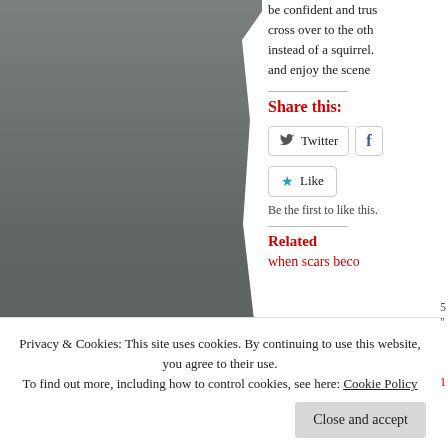[Figure (photo): Dark grey/charcoal vertical photo panel with torn paper edge effect on the right side, occupying the left portion of the page]
be confident and trust... cross over to the othe... instead of a squirrel... and enjoy the scener...
Share this:
Twitter
Like
Be the first to like this.
Related
when scars beco...
Privacy & Cookies: This site uses cookies. By continuing to use this website, you agree to their use.
To find out more, including how to control cookies, see here: Cookie Policy
Close and accept